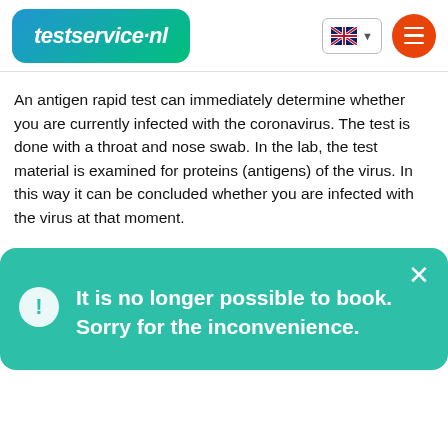[Figure (logo): testservice.nl logo with gradient blue-green rounded rectangle background and white italic bold text]
An antigen rapid test can immediately determine whether you are currently infected with the coronavirus. The test is done with a throat and nose swab. In the lab, the test material is examined for proteins (antigens) of the virus. In this way it can be concluded whether you are infected with the virus at that moment.
Book an appointment or contact
[Figure (screenshot): Teal popup dialog with X close button, info icon circle, and text: It is no longer possible to book. Sorry for the inconvenience.]